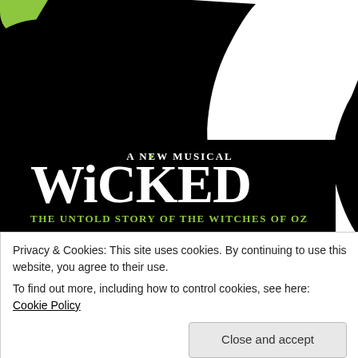[Figure (illustration): Wicked musical promotional poster showing stylized silhouette of a black-robed figure (the Wicked Witch) with green hat tip, and a white witch silhouette. Text reads 'A New Musical WICKED The Untold Story of the Witches of Oz' in white and yellow-green on black background.]
Privacy & Cookies: This site uses cookies. By continuing to use this website, you agree to their use.
To find out more, including how to control cookies, see here: Cookie Policy
Close and accept
Avenue Q: Work Light